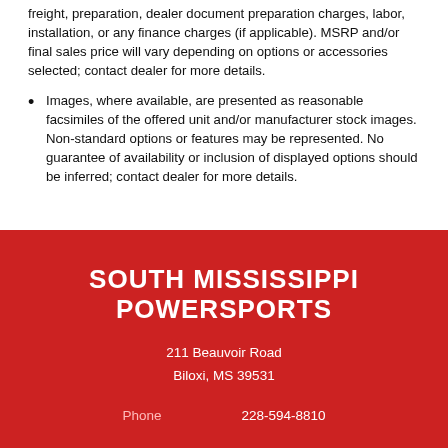freight, preparation, dealer document preparation charges, labor, installation, or any finance charges (if applicable). MSRP and/or final sales price will vary depending on options or accessories selected; contact dealer for more details.
Images, where available, are presented as reasonable facsimiles of the offered unit and/or manufacturer stock images. Non-standard options or features may be represented. No guarantee of availability or inclusion of displayed options should be inferred; contact dealer for more details.
SOUTH MISSISSIPPI POWERSPORTS
211 Beauvoir Road
Biloxi, MS 39531
Phone    228-594-8810